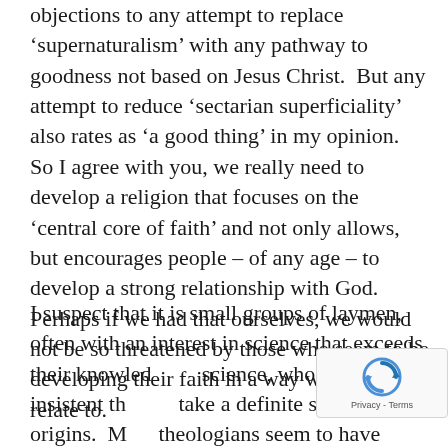objections to any attempt to replace 'supernaturalism' with any pathway to goodness not based on Jesus Christ.  But any attempt to reduce 'sectarian superficiality' also rates as 'a good thing' in my opinion.  So I agree with you, we really need to develop a religion that focuses on the 'central core of faith' and not only allows, but encourages people – of any age – to develop a strong relationship with God.  Perhaps if we had that ourselves, we would not be so threatened by those who seem to be developing their faith in a way we can't relate to.
I suspect that it is small groups of laymen, often with an interest in science that exceeds their knowledge of science, who are most insistent that we take a definite stand on origins.  Most theologians seem to have other